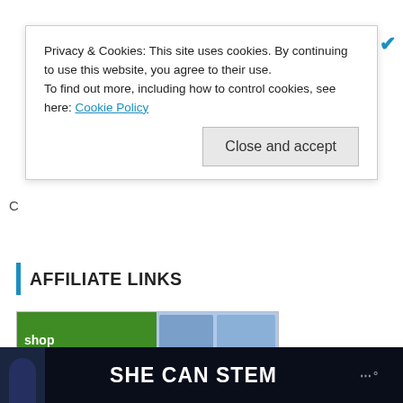Privacy & Cookies: This site uses cookies. By continuing to use this website, you agree to their use.
To find out more, including how to control cookies, see here: Cookie Policy
Close and accept
AFFILIATE LINKS
[Figure (illustration): Discount School Supply advertisement showing learning products for classroom or home use, with green background and product images collage]
[Figure (logo): GeekDad logo with blue text and heart/dollar icon, alongside GeekDad and GeekMom creator profile card]
GeekDad and GeekMom
Creator at GeekDad
[Figure (screenshot): SHE CAN STEM dark banner with white bold text and logo on the right]